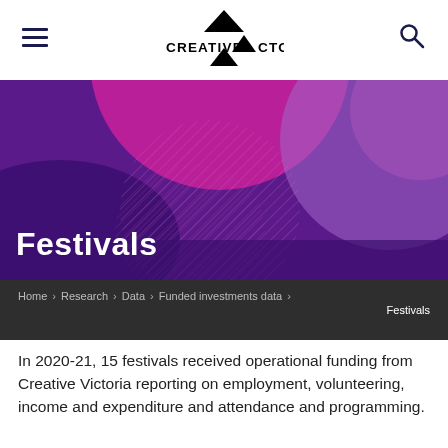CREATIVE VICTORIA
[Figure (illustration): Creative Victoria hero banner with purple and magenta abstract circular and wave shapes, with 'Festivals' title overlaid in white bold text at the bottom left]
Festivals
Home > Research > Data > Funded investments data > Festivals
In 2020-21, 15 festivals received operational funding from Creative Victoria reporting on employment, volunteering, income and expenditure and attendance and programming.